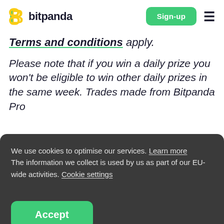bitpanda | Sign-up
Terms and conditions apply.
Please note that if you win a daily prize you won't be eligible to win other daily prizes in the same week. Trades made from Bitpanda Pro
We use cookies to optimise our services. Learn more The information we collect is used by us as part of our EU-wide activities. Cookie settings
Accept
Share this article on social media...